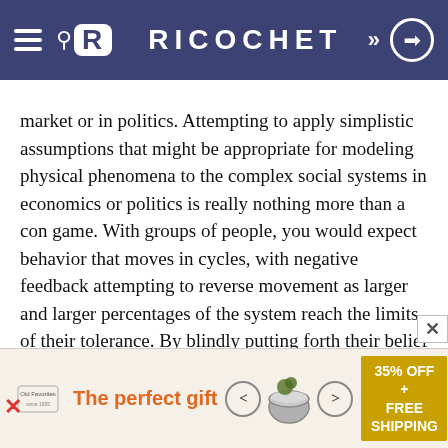RICOCHET
market or in politics. Attempting to apply simplistic assumptions that might be appropriate for modeling physical phenomena to the complex social systems in economics or politics is really nothing more than a con game. With groups of people, you would expect behavior that moves in cycles, with negative feedback attempting to reverse movement as larger and larger percentages of the system reach the limits of their tolerance. By blindly putting forth their belief in history moving in accordance with straightforward mathematical trends, they not only display their ignorance of mathematics and science, they display their ignorance of the complexity of social systems. [lots more of this in Hayek’s last book, The Fatal Conceit]
[Figure (infographic): Advertisement banner: 'The perfect gift' with product image of a pot/bowl, navigation arrows, and '35% OFF + FREE SHIPPING' offer badge]